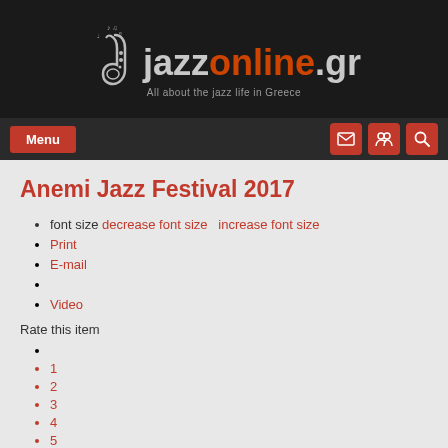jazzonline.gr — All about the jazz life in Greece
Anemi Jazz Festival 2017
font size decrease font size  increase font size
Print
E-mail
Video
Rate this item
1
2
3
4
5
(0 votes)